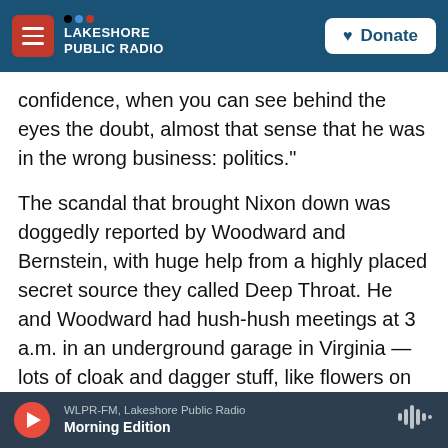NPR - Lakeshore Public Radio - Donate
confidence, when you can see behind the eyes the doubt, almost that sense that he was in the wrong business: politics."
The scandal that brought Nixon down was doggedly reported by Woodward and Bernstein, with huge help from a highly placed secret source they called Deep Throat. He and Woodward had hush-hush meetings at 3 a.m. in an underground garage in Virginia — lots of cloak and dagger stuff, like flowers on window sills to signal whether or not to meet. Everyone wondered where the information came from. Even (or especially) Sam
WLPR-FM, Lakeshore Public Radio — Morning Edition